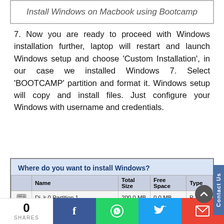Install Windows on Macbook using Bootcamp
7. Now you are ready to proceed with Windows installation further, laptop will restart and launch Windows setup and choose 'Custom Installation', in our case we installed Windows 7. Select 'BOOTCAMP' partition and format it. Windows setup will copy and install files. Just configure your Windows with username and credentials.
[Figure (screenshot): Windows installer disk selection screen showing 'Where do you want to install Windows?' with a table listing partitions: Disk 0 Partition 1 (200.0 MB, 0.0 MB free), Disk 0 Partition 2 (278.7 GB, 0.0 MB free, Primary), Disk 0 Partition 3 (619.0 MB, 0.0 MB free, Primary), Disk 0 Partition 4: BOOTCAMP (186.3 GB, 186.2 GB free, Primary) highlighted.]
0 SHARES | Facebook | WhatsApp | Twitter | Gmail